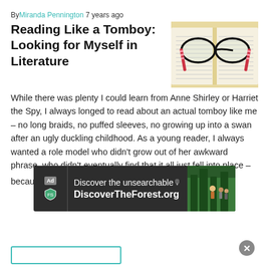By Miranda Pennington 7 years ago
Reading Like a Tomboy: Looking for Myself in Literature
[Figure (photo): Open book with red-patterned reading glasses resting on the pages]
While there was plenty I could learn from Anne Shirley or Harriet the Spy, I always longed to read about an actual tomboy like me – no long braids, no puffed sleeves, no growing up into a swan after an ugly duckling childhood. As a young reader, I always wanted a role model who didn't grow out of her awkward phrase, who didn't eventually find that it all just fell into place – because I...   74
[Figure (screenshot): Ad banner for DiscoverTheForest.org: 'Discover the unsearchable' with forest background image and people hiking, close button in corner]